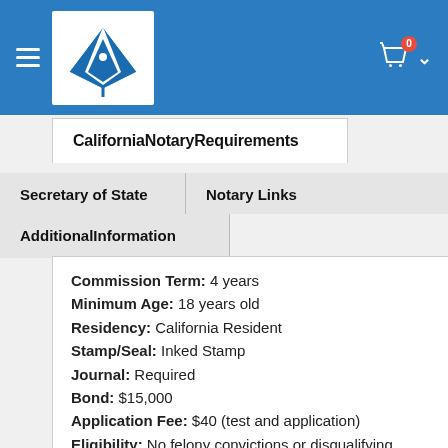Navigation header with logo and cart icon
California Notary Requirements
Secretary of State
Notary Links
Additional Information
Commission Term: 4 years
Minimum Age: 18 years old
Residency: California Resident
Stamp/Seal: Inked Stamp
Journal: Required
Bond: $15,000
Application Fee: $40 (test and application)
Eligibility: No felony convictions or disqualifying